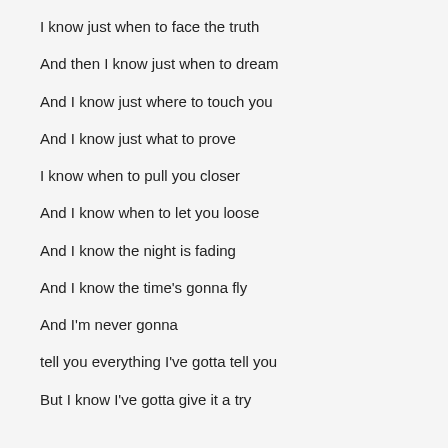I know just when to face the truth
And then I know just when to dream
And I know just where to touch you
And I know just what to prove
I know when to pull you closer
And I know when to let you loose
And I know the night is fading
And I know the time's gonna fly
And I'm never gonna
tell you everything I've gotta tell you
But I know I've gotta give it a try